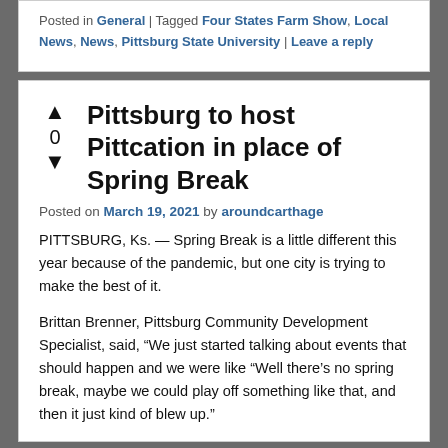Posted in General | Tagged Four States Farm Show, Local News, News, Pittsburg State University | Leave a reply
Pittsburg to host Pittcation in place of Spring Break
Posted on March 19, 2021 by aroundcarthage
PITTSBURG, Ks. — Spring Break is a little different this year because of the pandemic, but one city is trying to make the best of it.
Brittan Brenner, Pittsburg Community Development Specialist, said, "We just started talking about events that should happen and we were like "Well there's no spring break, maybe we could play off something like that, and then it just kind of blew up."